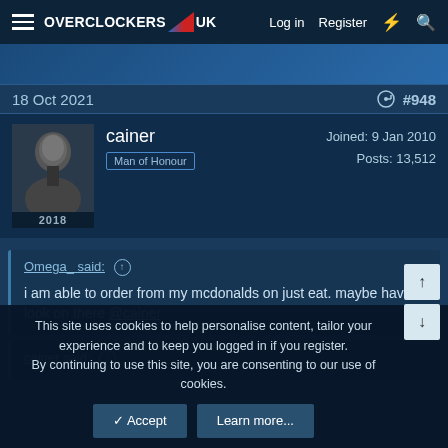OVERCLOCKERS UK — Log in  Register
18 Oct 2021  #948
cainer  Man of Honour  Joined: 9 Jan 2010  Posts: 13,512
Omega_ said: ↑  i am able to order from my mcdonalds on just eat. maybe have a look on there @cainer
cainer said: ↑
This site uses cookies to help personalise content, tailor your experience and to keep you logged in if you register. By continuing to use this site, you are consenting to our use of cookies.